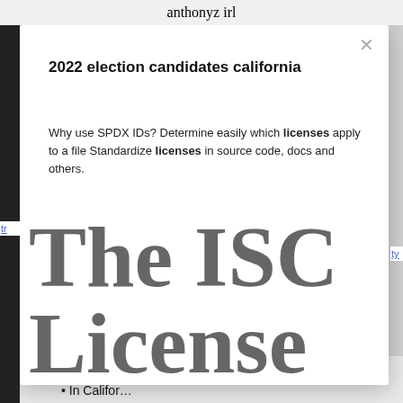anthonyz irl
2022 election candidates california
Why use SPDX IDs? Determine easily which licenses apply to a file Standardize licenses in source code, docs and others.
The ISC License
In Califor…